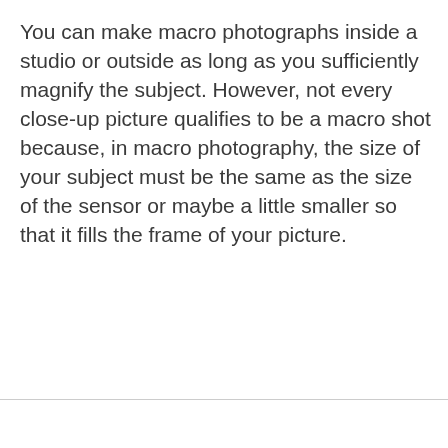You can make macro photographs inside a studio or outside as long as you sufficiently magnify the subject. However, not every close-up picture qualifies to be a macro shot because, in macro photography, the size of your subject must be the same as the size of the sensor or maybe a little smaller so that it fills the frame of your picture.